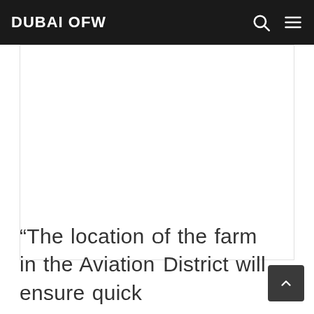DUBAI OFW
[Figure (other): Advertisement placeholder / white rectangle below the navigation bar]
“The location of the farm in the Aviation District will ensure quick